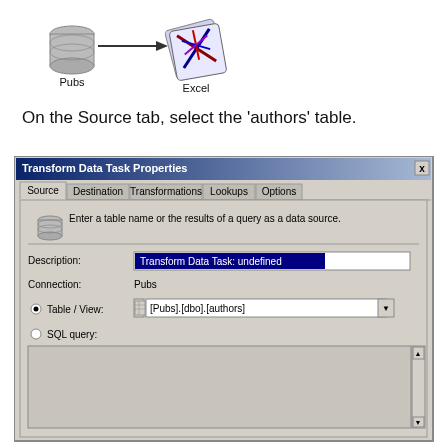[Figure (schematic): Diagram showing Pubs database icon connected via arrow to Excel icon, labeled 'Pubs' and 'Excel']
On the Source tab, select the 'authors' table.
[Figure (screenshot): Transform Data Task Properties dialog box showing Source tab with table/view set to [Pubs].[dbo].[authors]]